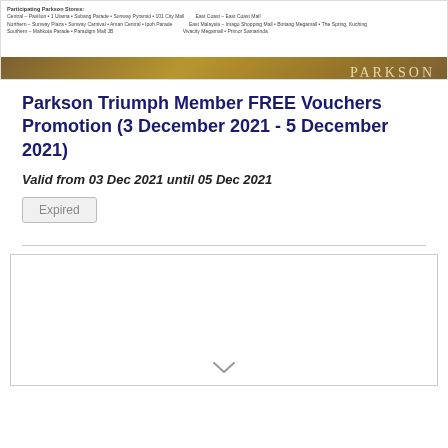[Figure (illustration): Parkson promotional banner with floral decoration at top, store listings in small text, and a gold/brown gradient bar at bottom with PARKSON logo]
Parkson Triumph Member FREE Vouchers Promotion (3 December 2021 - 5 December 2021)
Valid from 03 Dec 2021 until 05 Dec 2021
Expired
[Figure (illustration): Large bordered content box, mostly empty white space with a chevron/down arrow at the bottom center]